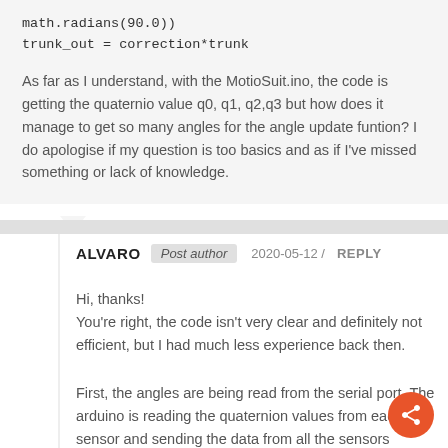math.radians(90.0))
trunk_out = correction*trunk
As far as I understand, with the MotioSuit.ino, the code is getting the quaternio value q0, q1, q2,q3 but how does it manage to get so many angles for the angle update funtion? I do apologise if my question is too basics and as if I've missed something or lack of knowledge.
ALVARO  Post author  2020-05-12 / REPLY
Hi, thanks!
You're right, the code isn't very clear and definitely not efficient, but I had much less experience back then.
First, the angles are being read from the serial port. The arduino is reading the quaternion values from each sensor and sending the data from all the sensors through the serial port. Blender then reads this data and separates the data first into sensors and then into